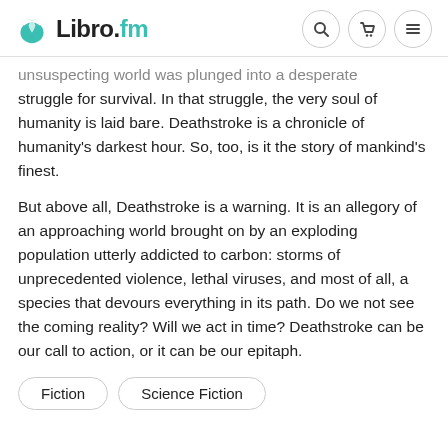Libro.fm
unsuspecting world was plunged into a desperate struggle for survival. In that struggle, the very soul of humanity is laid bare. Deathstroke is a chronicle of humanity's darkest hour. So, too, is it the story of mankind's finest.
But above all, Deathstroke is a warning. It is an allegory of an approaching world brought on by an exploding population utterly addicted to carbon: storms of unprecedented violence, lethal viruses, and most of all, a species that devours everything in its path. Do we not see the coming reality? Will we act in time? Deathstroke can be our call to action, or it can be our epitaph.
Fiction
Science Fiction